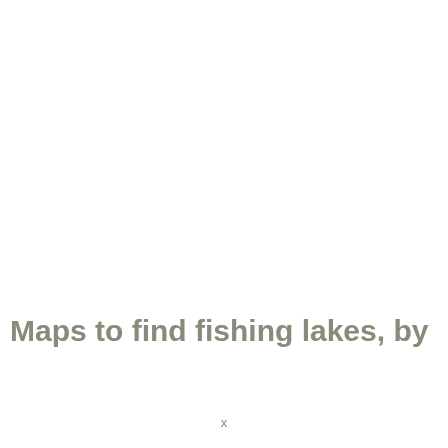Maps to find fishing lakes, by
x